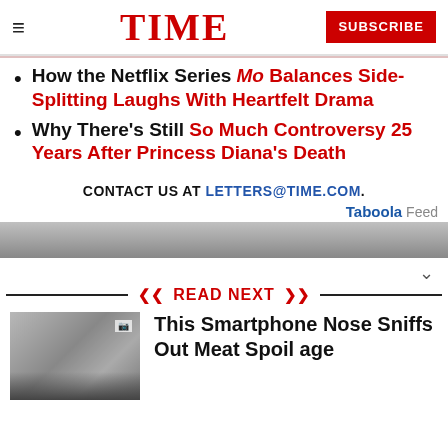TIME | SUBSCRIBE
How the Netflix Series Mo Balances Side-Splitting Laughs With Heartfelt Drama
Why There's Still So Much Controversy 25 Years After Princess Diana's Death
CONTACT US AT LETTERS@TIME.COM.
Taboola Feed
[Figure (photo): Partial photo strip of a person, cropped at top]
READ NEXT
[Figure (photo): Person using a smartphone, related to meat spoilage story]
This Smartphone Nose Sniffs Out Meat Spoilage